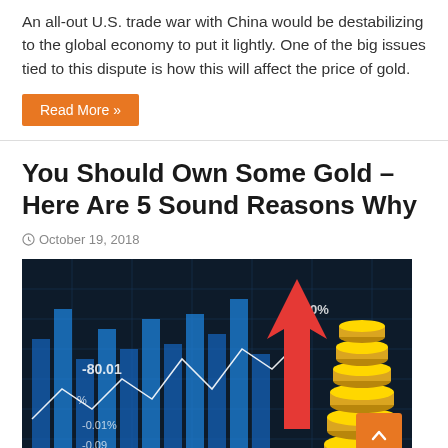An all-out U.S. trade war with China would be destabilizing to the global economy to put it lightly. One of the big issues tied to this dispute is how this will affect the price of gold.
Read More »
You Should Own Some Gold – Here Are 5 Sound Reasons Why
October 19, 2018
[Figure (photo): Financial chart background with stock market data displayed in blue on dark background, a large red upward-pointing arrow, and stacked gold coins on the right side.]